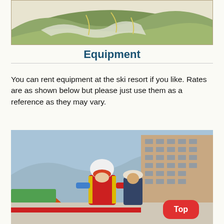[Figure (photo): Aerial/overhead map illustration of a ski resort mountain terrain with marked slopes and trails on a green/yellow topographic background, displayed on a wall or board.]
Equipment
You can rent equipment at the ski resort if you like. Rates are as shown below but please just use them as a reference as they may vary.
[Figure (photo): A skier in a red and yellow jacket with a white helmet and red ski goggles stands in front of a large hotel building at a ski resort. Behind her stands a person in a dark blue uniform with a white fur hat. Orange and green tents are visible in the background. A red 'Top' button overlay appears in the bottom right corner.]